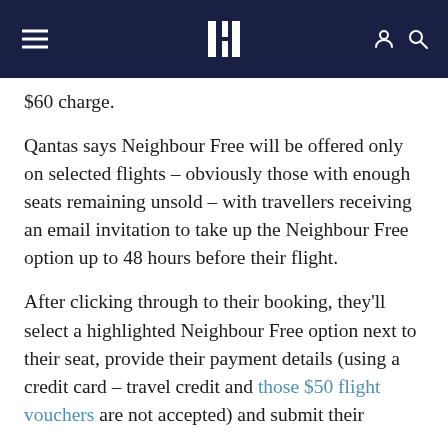Escape · [hamburger menu] [user icon] [search icon]
$60 charge.
Qantas says Neighbour Free will be offered only on selected flights – obviously those with enough seats remaining unsold – with travellers receiving an email invitation to take up the Neighbour Free option up to 48 hours before their flight.
After clicking through to their booking, they'll select a highlighted Neighbour Free option next to their seat, provide their payment details (using a credit card – travel credit and those $50 flight vouchers are not accepted) and submit their